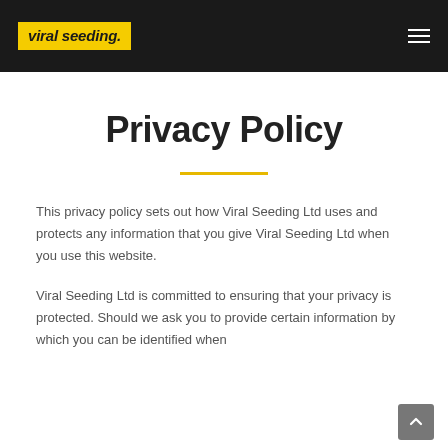viral seeding.
Privacy Policy
This privacy policy sets out how Viral Seeding Ltd uses and protects any information that you give Viral Seeding Ltd when you use this website.
Viral Seeding Ltd is committed to ensuring that your privacy is protected. Should we ask you to provide certain information by which you can be identified when